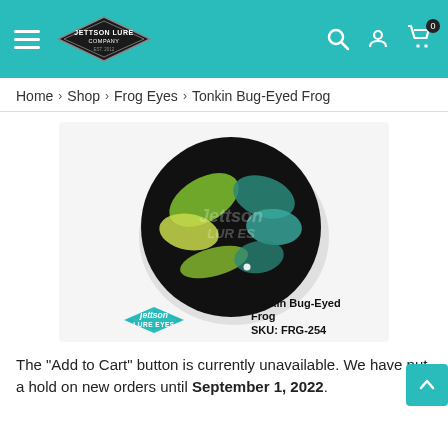Jettson Lure Company
Home > Shop > Frog Eyes > Tonkin Bug-Eyed Frog
[Figure (photo): Product photo of a Tonkin Bug-Eyed Frog lure eye — a large round black lure eye with yellow-green and teal markings. Labeled 'Jettson LURE EYES' with text 'Tonkin Bug-Eyed Frog SKU: FRG-254']
The "Add to Cart" button is currently unavailable. We have put a hold on new orders until September 1, 2022.